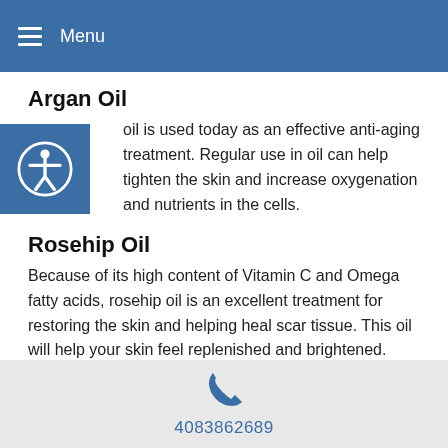Menu
Argan Oil
...oil is used today as an effective anti-aging treatment. Regular use in oil can help tighten the skin and increase oxygenation and nutrients in the cells.
Rosehip Oil
Because of its high content of Vitamin C and Omega fatty acids, rosehip oil is an excellent treatment for restoring the skin and helping heal scar tissue. This oil will help your skin feel replenished and brightened.
Hemp seed oil
If you struggle with oily skin and blocked pores, believe or not, this dry oil can help. Hemp seed oil has a high content of Omega fatty acids that can reduce pore size and eliminate acne. This oil is also used to
4083862689